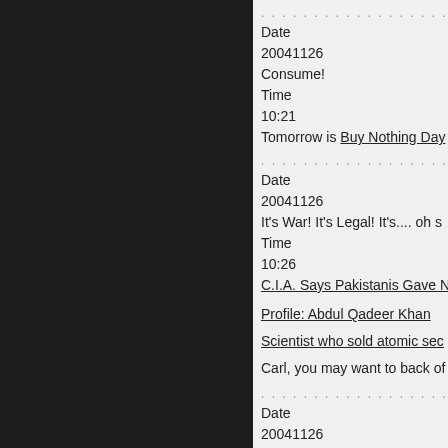. . . . . . . . . . . . . . . . . . . . . . . . . .
Date
20041126
Consume!
Time
10:21
Tomorrow is Buy Nothing Day
. . . . . . . . . . . . . . . . . . . . . . . . . .
Date
20041126
It's War! It's Legal! It's.... oh s
Time
10:26
C.I.A. Says Pakistanis Gave N
Profile: Abdul Qadeer Khan
Scientist who sold atomic sec
Carl, you may want to back of
. . . . . . . . . . . . . . . . . . . . . . . . . .
Date
20041126
Church & State